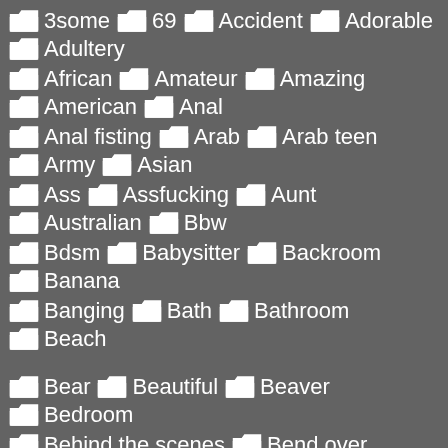3some
69
Accident
Adorable
Adultery
African
Amateur
Amazing
American
Anal
Anal fisting
Arab
Arab teen
Army
Asian
Ass
Assfucking
Aunt
Australian
Bbw
Bdsm
Babysitter
Backroom
Banana
Banging
Bath
Bathroom
Beach
Bear
Beautiful
Beaver
Bedroom
Behind the scenes
Bend over
Big ass
Big black cock
Big cock
Big natural tits
Big nipples
Big tits
Biker
Bikini
Birthday
Bisexual
Bitch
Bizarre
Black
Black teen
Blonde
Blowjob
Bodybuilder
Bondage
Boots
Boss
Boyfriend
Bra
Brazil
Bride